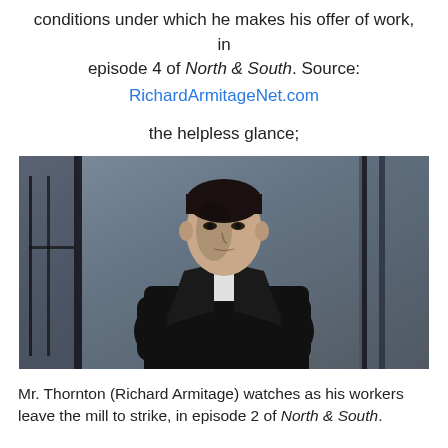conditions under which he makes his offer of work, in episode 4 of North & South. Source:
RichardArmitageNet.com
the helpless glance;
[Figure (photo): Mr. Thornton (Richard Armitage) standing in a dark coat with white shirt, looking stoic, photographed in a period drama setting with architectural elements in the background (from North & South).]
Mr. Thornton (Richard Armitage) watches as his workers leave the mill to strike, in episode 2 of North & South.